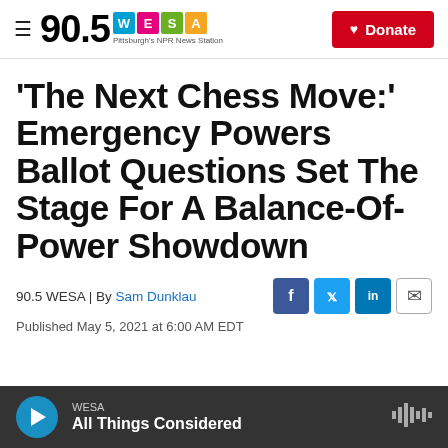90.5 WESA — Pittsburgh's NPR News Station | Donate
'The Next Chess Move:' Emergency Powers Ballot Questions Set The Stage For A Balance-Of-Power Showdown
90.5 WESA | By Sam Dunklau
Published May 5, 2021 at 6:00 AM EDT
WESA — All Things Considered